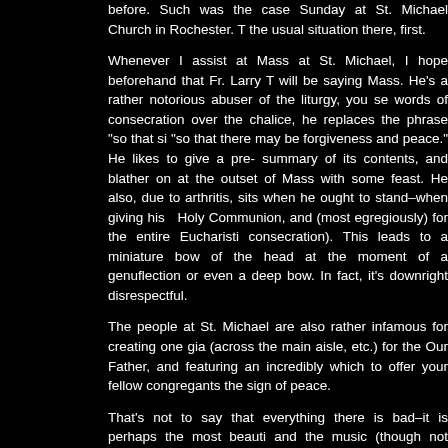before.  Such was the case Sunday at St. Michael Church in Rochester. The usual situation there, first.
Whenever I assist at Mass at St. Michael, I hope beforehand that Fr. Larry T will be saying Mass.  He's a rather notorious abuser of the liturgy, you see words of consecration over the chalice, he replaces the phrase "so that si "so that there may be forgiveness and peace."  He likes to give a pre- summary of its contents, and blather on at the outset of Mass with some feast.  He also, due to arthritis, sits when he ought to stand–when giving his Holy Communion, and (most egregiously) for the entire Eucharisti consecration).  This leads to a miniature bow of the head at the moment of a genuflection or even a deep bow.  In fact, it's downright disrespectful.
The people at St. Michael are also rather infamous for creating one gia (across the main aisle, etc.) for the Our Father, and featuring an incredibly which to offer your fellow congregants the sign of peace.
That's not to say that everything there is bad–it is perhaps the most beauti and the music (though not chant or polyphony) is generally both sacred a The music is generally the high point of the liturgy there.
Therefore, I was shocked on Sunday to hear the cantor announce, found on page x in your red hymnals, "Angels We Have Heard on High.
Now, this is just plain absurd!  There's no possible reason anyone can come Sure, it's beautiful.  Certainly, it contains the word Gloria.  It's not the Gloria can fly" is the Credo.
So, kudos to the folks at St. Michael.  They've surprised me with a whole